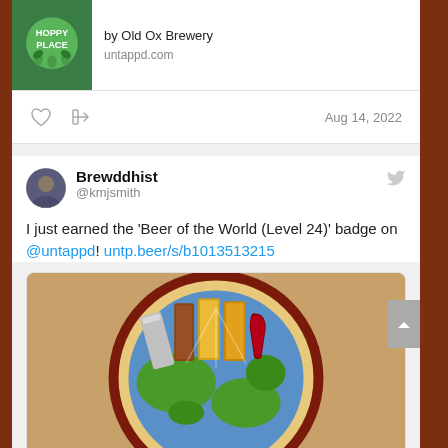[Figure (screenshot): Hoppy Place beer badge image from Old Ox Brewery on untappd.com]
by Old Ox Brewery
untappd.com
Aug 14, 2022
Brewddhist
@kmjsmith
I just earned the 'Beer of the World (Level 24)' badge on @untappd! untp.beer/s/b1013513215
[Figure (illustration): Beer of the World badge illustration: globe with various beer glasses and cans arranged on top]
Kevin unlocked a badge!
Beer of the World (Level 24): Traveling the world is hard, but not for you. It's as easy as cracking open
untappd.com